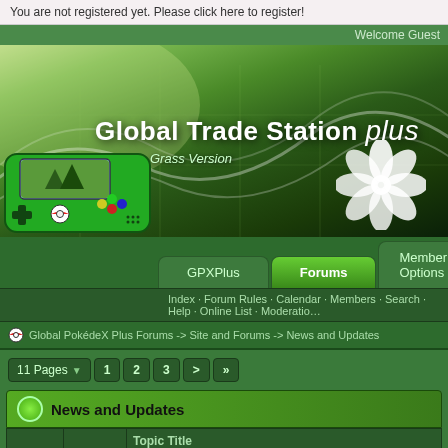You are not registered yet. Please click here to register!
Welcome Guest
[Figure (illustration): Global Trade Station Plus banner with green nature background, swirling white wave patterns, text reading 'Global Trade Station plus' and 'Grass Version', with a white leaf/flower decoration and a green Game Boy device icon]
GPXPlus | Forums | Member Options
Index · Forum Rules · Calendar · Members · Search · Help · Online List · Moderation
Global PokédeX Plus Forums -> Site and Forums -> News and Updates
11 Pages   1 2 3 > »
News and Updates
|  |  | Topic Title |
| --- | --- | --- |
| Announcements |  |  |
| [icon] |  | Announcement: Forum Rules (Update February 11th, 2012) |